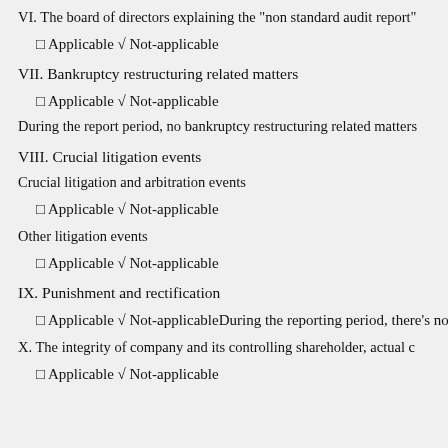VI. The board of directors explaining the "non standard audit report"
□ Applicable √ Not-applicable
VII. Bankruptcy restructuring related matters
□ Applicable √ Not-applicable
During the report period, no bankruptcy restructuring related matters
VIII. Crucial litigation events
Crucial litigation and arbitration events
□ Applicable √ Not-applicable
Other litigation events
□ Applicable √ Not-applicable
IX. Punishment and rectification
□ Applicable √ Not-applicableDuring the reporting period, there's no
X. The integrity of company and its controlling shareholder, actual c
□ Applicable √ Not-applicable